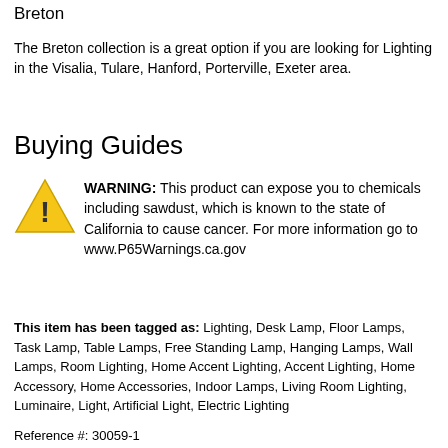Breton
The Breton collection is a great option if you are looking for Lighting in the Visalia, Tulare, Hanford, Porterville, Exeter area.
Buying Guides
WARNING: This product can expose you to chemicals including sawdust, which is known to the state of California to cause cancer. For more information go to www.P65Warnings.ca.gov
This item has been tagged as: Lighting, Desk Lamp, Floor Lamps, Task Lamp, Table Lamps, Free Standing Lamp, Hanging Lamps, Wall Lamps, Room Lighting, Home Accent Lighting, Accent Lighting, Home Accessory, Home Accessories, Indoor Lamps, Living Room Lighting, Luminaire, Light, Artificial Light, Electric Lighting
Reference #: 30059-1